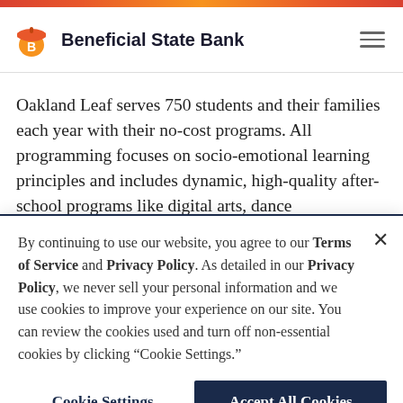[Figure (logo): Beneficial State Bank logo with orange acorn icon and bank name]
Oakland Leaf serves 750 students and their families each year with their no-cost programs. All programming focuses on socio-emotional learning principles and includes dynamic, high-quality after-school programs like digital arts, dance
By continuing to use our website, you agree to our Terms of Service and Privacy Policy. As detailed in our Privacy Policy, we never sell your personal information and we use cookies to improve your experience on our site. You can review the cookies used and turn off non-essential cookies by clicking “Cookie Settings.”
Cookie Settings
Accept All Cookies